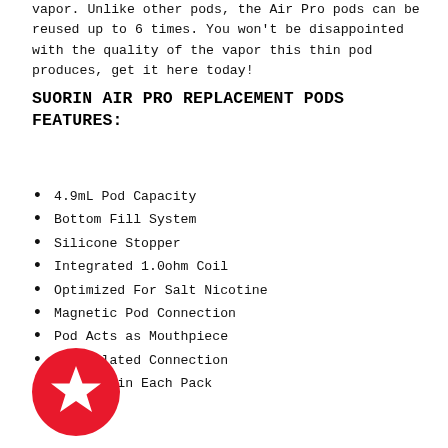vapor. Unlike other pods, the Air Pro pods can be reused up to 6 times. You won't be disappointed with the quality of the vapor this thin pod produces, get it here today!
SUORIN AIR PRO REPLACEMENT PODS FEATURES:
4.9mL Pod Capacity
Bottom Fill System
Silicone Stopper
Integrated 1.0ohm Coil
Optimized For Salt Nicotine
Magnetic Pod Connection
Pod Acts as Mouthpiece
Gold Plated Connection
One Pod in Each Pack
[Figure (illustration): Red circle badge with a white star in the center]